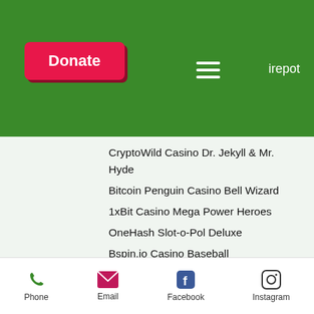irepot
CryptoWild Casino Dr. Jekyll & Mr. Hyde
Bitcoin Penguin Casino Bell Wizard
1xBit Casino Mega Power Heroes
OneHash Slot-o-Pol Deluxe
Bspin.io Casino Baseball
Diamond Reels Casino Ryan OBryan and the Celtic Fairies
Playamo Casino Cold Cash
mBTC free bet Neon Staxx
King Billy Casino Kamchatka
mBTC free bet Travel Bug
OneHash Jenny Nevada and the Diamond Temple
Phone  Email  Facebook  Instagram